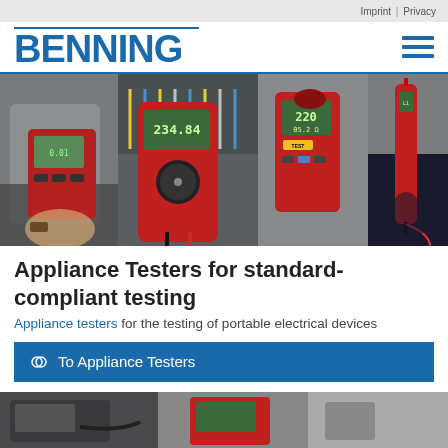Imprint | Privacy
[Figure (logo): BENNING company logo in blue with hamburger menu icon]
[Figure (photo): Multiple red electrical testing devices including multimeters, voltage testers, and appliance testers being held by hands in front of an electrical panel]
Appliance Testers for standard-compliant testing
Appliance testers for the testing of portable electrical devices
To Appliance Testers
[Figure (photo): Partial view of electrical testing equipment at bottom of page]